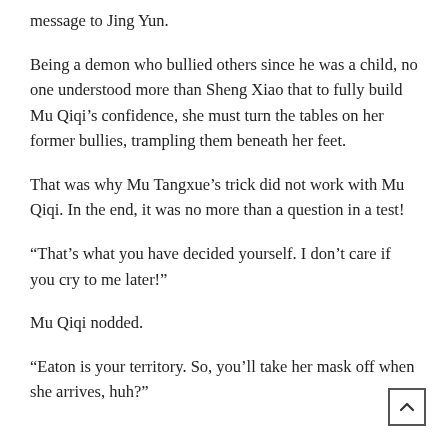message to Jing Yun.
Being a demon who bullied others since he was a child, no one understood more than Sheng Xiao that to fully build Mu Qiqi’s confidence, she must turn the tables on her former bullies, trampling them beneath her feet.
That was why Mu Tangxue’s trick did not work with Mu Qiqi. In the end, it was no more than a question in a test!
“That’s what you have decided yourself. I don’t care if you cry to me later!”
Mu Qiqi nodded.
“Eaton is your territory. So, you’ll take her mask off when she arrives, huh?”